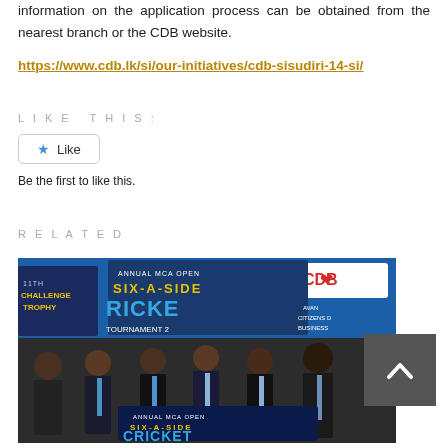information on the application process can be obtained from the nearest branch or the CDB website. https://www.cdb.lk/si/our-initiatives/cdb-sisudiri-14-si/
LIKE THIS:
Like
Be the first to like this.
RELATED
[Figure (photo): Group photo of men in suits at an Annual MCA Open Six-A-Side Cricket Tournament 2022 event with CDB branding banners in background. Men are shaking hands and holding a tournament banner.]